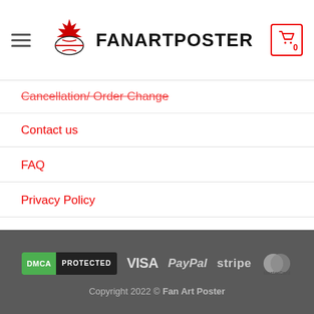FanArtPoster
Cancellation/ Order Change
Contact us
FAQ
Privacy Policy
Refund and Returns Policy
Shipping & Delivery
DMCA PROTECTED  VISA  PayPal  stripe  MasterCard
Copyright 2022 © Fan Art Poster